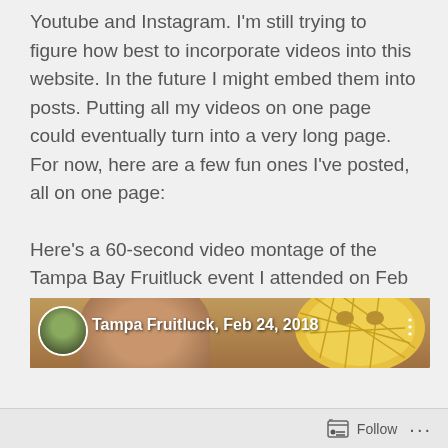Youtube and Instagram. I'm still trying to figure how best to incorporate videos into this website. In the future I might embed them into posts. Putting all my videos on one page could eventually turn into a very long page. For now, here are a few fun ones I've posted, all on one page:
Here's a 60-second video montage of the Tampa Bay Fruitluck event I attended on Feb  24, 2018:
[Figure (screenshot): Video thumbnail showing a selfie scene with a Tampa Fruitluck Feb 24, 2018 title overlay. A circular avatar photo of a person appears top-left, and the foreground shows faces and a pineapple against an outdoor park background.]
Follow ···